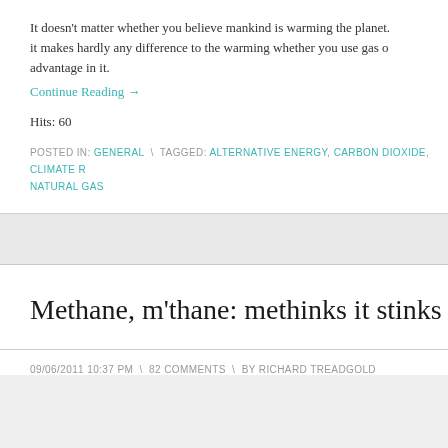It doesn't matter whether you believe mankind is warming the planet. it makes hardly any difference to the warming whether you use gas o advantage in it.
Continue Reading →
Hits: 60
POSTED IN: GENERAL \ TAGGED: ALTERNATIVE ENERGY, CARBON DIOXIDE, CLIMATE R... NATURAL GAS
Methane, m'thane: methinks it stinks
09/06/2011 10:37 PM \ 82 COMMENTS \ BY RICHARD TREADGOLD